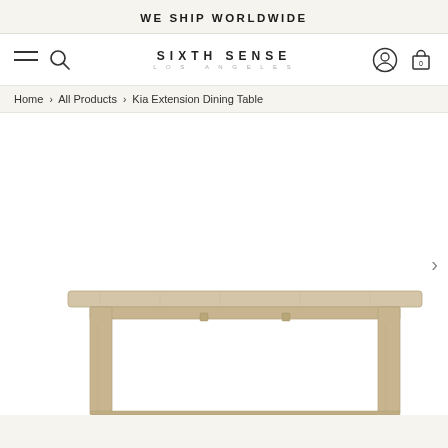WE SHIP WORLDWIDE
[Figure (screenshot): Sixth Sense Los Angeles e-commerce website navigation bar with hamburger menu, search icon, logo, user account icon, and shopping bag icon showing 0 items]
Home > All Products > Kia Extension Dining Table
[Figure (photo): Product photo of a light wood natural finish Kia Extension Dining Table showing the tabletop and frame/legs structure from a front view against a white background]